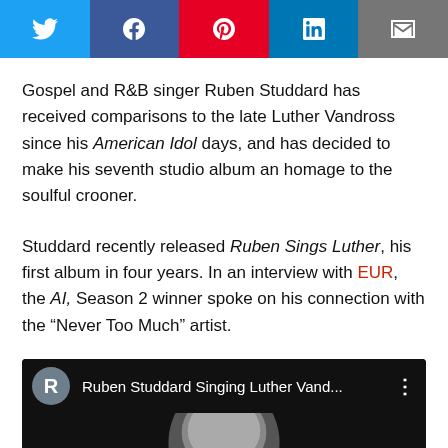[Figure (screenshot): Social media share bar with Twitter (blue), Facebook (dark blue), Pinterest (red), LinkedIn (blue), and Email (gray) buttons]
Gospel and R&B singer Ruben Studdard has received comparisons to the late Luther Vandross since his American Idol days, and has decided to make his seventh studio album an homage to the soulful crooner.
Studdard recently released Ruben Sings Luther, his first album in four years. In an interview with EUR, the AI, Season 2 winner spoke on his connection with the “Never Too Much” artist.
[Figure (screenshot): YouTube video embed showing Ruben Studdard Singing Luther Vand... with a black and white thumbnail of a person's head and a red play button]